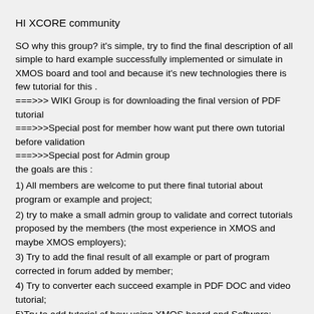HI XCORE community
SO why this group? it's simple, try to find the final description of all simple to hard example successfully implemented or simulate in XMOS board and tool and because it's new technologies there is few tutorial for this .
===>>> WIKI Group is for downloading the final version of PDF tutorial
===>>>Special post for member how want put there own tutorial before validation
===>>>Special post for Admin group
the goals are this :
1) All members are welcome to put there final tutorial about program or example and project;
2) try to make a small admin group to validate and correct tutorials proposed by the members (the most experience in XMOS and maybe XMOS employers);
3) Try to add the final result of all example or part of program corrected in forum added by member;
4) Try to converter each succeed example in PDF DOC and video tutorial;
5)Try to add tutorial of how using XMOS board and Software;
6) Invite some XMOS employers foundation here to talk about new or specifics function or trick in tutorial ;
7) Invite some member creator of complete project to add there tutorial about how compile and implement using XMOS board and tools;